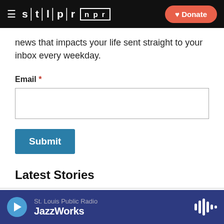STLPR NPR | Donate
news that impacts your life sent straight to your inbox every weekday.
Email *
Submit
Latest Stories
Government, Politics & Issues
St. Louis Public Radio | JazzWorks